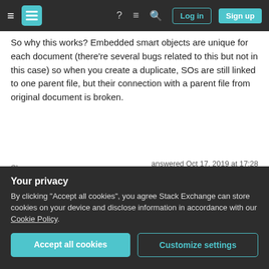[Figure (screenshot): Stack Exchange navigation bar with hamburger menu, logo, icons, Log in and Sign up buttons]
So why this works? Embedded smart objects are unique for each document (there're several bugs related to this but not in this case) so when you create a duplicate, SOs are still linked to one parent file, but their connection with a parent file from original document is broken.
Share
Improve this answer
Follow
answered Oct 17, 2019 at 17:28
Sergey Kritskiy
4,332 ◇1 ○8 △20
Thanks. looks like this could work. I'll give it a try
Your privacy
By clicking "Accept all cookies", you agree Stack Exchange can store cookies on your device and disclose information in accordance with our Cookie Policy.
Accept all cookies   Customize settings
them, right-click them, select "Duplicate Layers..." and